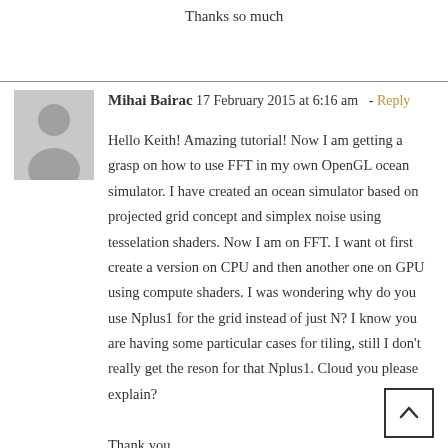Thanks so much
Mihai Bairac 17 February 2015 at 6:16 am - Reply
Hello Keith! Amazing tutorial! Now I am getting a grasp on how to use FFT in my own OpenGL ocean simulator. I have created an ocean simulator based on projected grid concept and simplex noise using tesselation shaders. Now I am on FFT. I want ot first create a version on CPU and then another one on GPU using compute shaders. I was wondering why do you use Nplus1 for the grid instead of just N? I know you are having some particular cases for tiling, still I don't really get the reson for that Nplus1. Cloud you please explain?
Thank you.